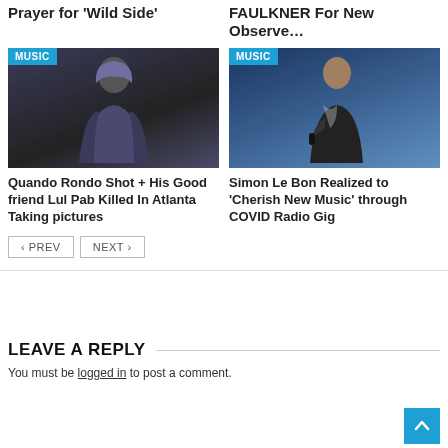Prayer for ‘Wild Side’
FAULKNER For New Observe…
[Figure (photo): Person in hoodie, dark background, MUSIC badge top left]
[Figure (photo): Man singing into microphone on stage, MUSIC badge top left]
Quando Rondo Shot + His Good friend Lul Pab Killed In Atlanta Taking pictures
Simon Le Bon Realized to ‘Cherish New Music’ through COVID Radio Gig
‹ PREV
NEXT ›
LEAVE A REPLY
You must be logged in to post a comment.